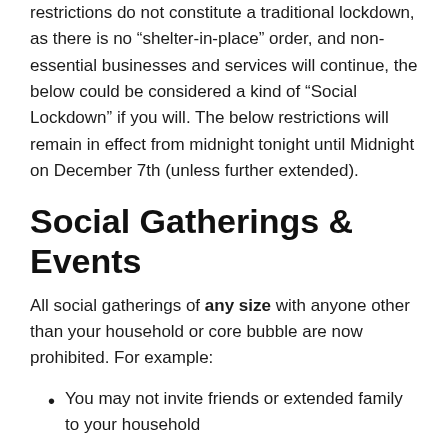restrictions do not constitute a traditional lockdown, as there is no “shelter-in-place” order, and non-essential businesses and services will continue, the below could be considered a kind of “Social Lockdown” if you will. The below restrictions will remain in effect from midnight tonight until Midnight on December 7th (unless further extended).
Social Gatherings & Events
All social gatherings of any size with anyone other than your household or core bubble are now prohibited. For example:
You may not invite friends or extended family to your household
You may not gather outdoors